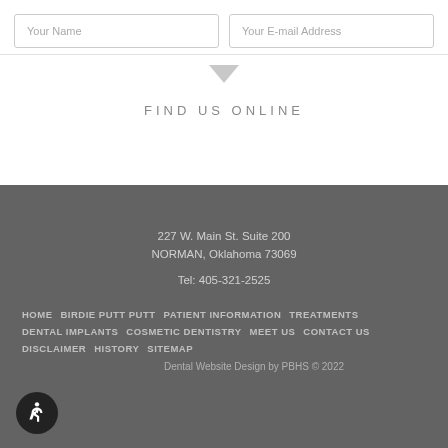Your Name
Your E-mail Address
FIND US ONLINE
227 W. Main St. Suite 200
NORMAN, Oklahoma 73069
Tel: 405-321-2525
HOME  BIRDIE PUTT PUTT  PATIENT INFORMATION  TREATMENTS  DENTAL IMPLANTS  COSMETIC DENTISTRY  MEET US  CONTACT US  DISCLAIMER  HISTORY  SITEMAP
Dental Website Design by PBHS © 2022